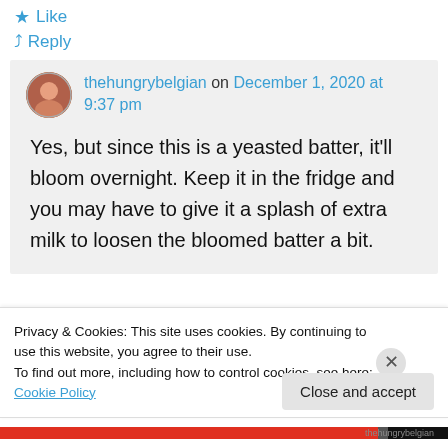★ Like
↳ Reply
thehungrybelgian on December 1, 2020 at 9:37 pm
Yes, but since this is a yeasted batter, it'll bloom overnight. Keep it in the fridge and you may have to give it a splash of extra milk to loosen the bloomed batter a bit.
Privacy & Cookies: This site uses cookies. By continuing to use this website, you agree to their use.
To find out more, including how to control cookies, see here: Cookie Policy
Close and accept